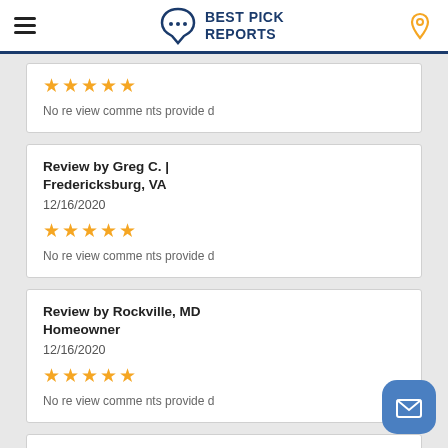Best Pick Reports
No review comments provided
Review by Greg C. | Fredericksburg, VA
12/16/2020
No review comments provided
Review by Rockville, MD Homeowner
12/16/2020
No review comments provided
Review by Alexandria, VA Homeowner